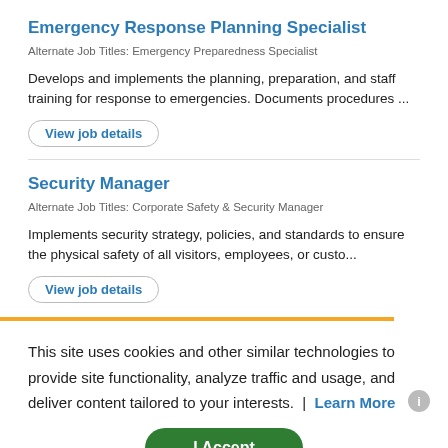Emergency Response Planning Specialist
Alternate Job Titles: Emergency Preparedness Specialist
Develops and implements the planning, preparation, and staff training for response to emergencies. Documents procedures ...
View job details
Security Manager
Alternate Job Titles: Corporate Safety & Security Manager
Implements security strategy, policies, and standards to ensure the physical safety of all visitors, employees, or custo...
View job details
This site uses cookies and other similar technologies to provide site functionality, analyze traffic and usage, and deliver content tailored to your interests. | Learn More
I Accept